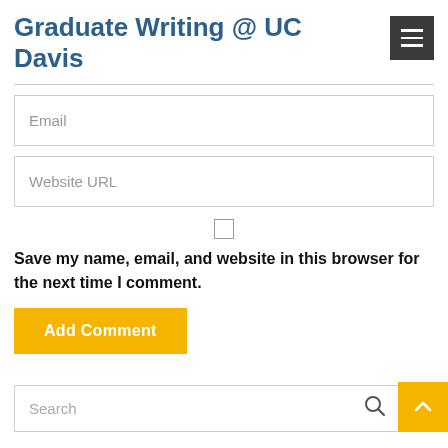Graduate Writing @ UC Davis
Email
Website URL
Save my name, email, and website in this browser for the next time I comment.
Add Comment
Search